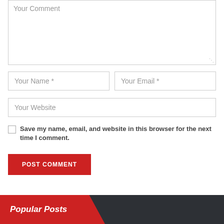Your Comment
Your Name *
Your Email *
Your Website
Save my name, email, and website in this browser for the next time I comment.
POST COMMENT
Popular Posts